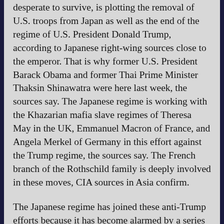desperate to survive, is plotting the removal of U.S. troops from Japan as well as the end of the regime of U.S. President Donald Trump, according to Japanese right-wing sources close to the emperor. That is why former U.S. President Barack Obama and former Thai Prime Minister Thaksin Shinawatra were here last week, the sources say. The Japanese regime is working with the Khazarian mafia slave regimes of Theresa May in the UK, Emmanuel Macron of France, and Angela Merkel of Germany in this effort against the Trump regime, the sources say. The French branch of the Rothschild family is deeply involved in these moves, CIA sources in Asia confirm.
The Japanese regime has joined these anti-Trump efforts because it has become alarmed by a series of recent public rebukes by the Trump military government. The biggest is that Japan is being kept totally out of the loop about trump exchanges and...